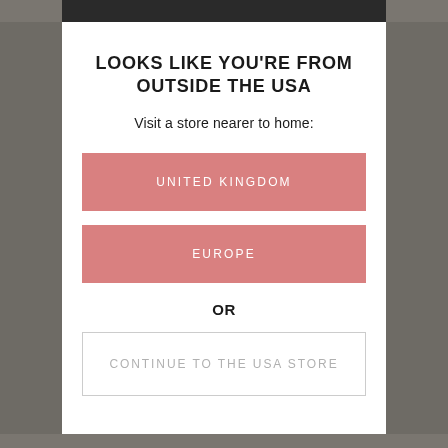LOOKS LIKE YOU'RE FROM OUTSIDE THE USA
Visit a store nearer to home:
UNITED KINGDOM
EUROPE
OR
CONTINUE TO THE USA STORE